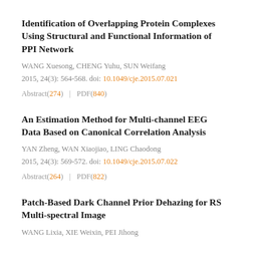Identification of Overlapping Protein Complexes Using Structural and Functional Information of PPI Network
WANG Xuesong, CHENG Yuhu, SUN Weifang
2015, 24(3): 564-568. doi: 10.1049/cje.2015.07.021
Abstract(274) | PDF(840)
An Estimation Method for Multi-channel EEG Data Based on Canonical Correlation Analysis
YAN Zheng, WAN Xiaojiao, LING Chaodong
2015, 24(3): 569-572. doi: 10.1049/cje.2015.07.022
Abstract(264) | PDF(822)
Patch-Based Dark Channel Prior Dehazing for RS Multi-spectral Image
WANG Lixia, XIE Weixin, PEI Jihong